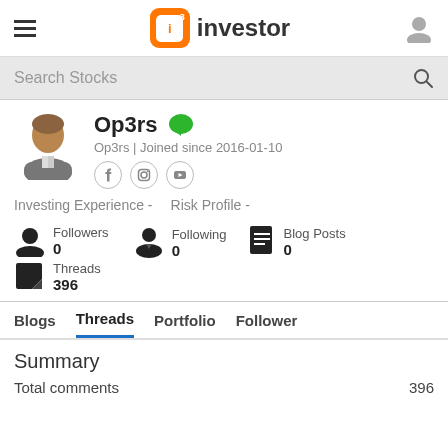i3 investor
Search Stocks
Op3rs
Op3rs | Joined since 2016-01-10
Investing Experience -   Risk Profile -
Followers
0
Following
0
Blog Posts
0
Threads
396
Blogs   Threads   Portfolio   Follower
Summary
Total comments	396